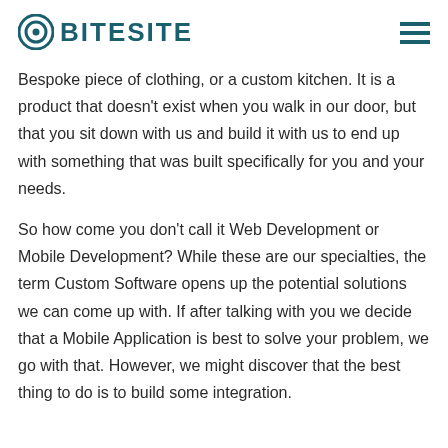BITESITE
Bespoke piece of clothing, or a custom kitchen. It is a product that doesn't exist when you walk in our door, but that you sit down with us and build it with us to end up with something that was built specifically for you and your needs.
So how come you don't call it Web Development or Mobile Development? While these are our specialties, the term Custom Software opens up the potential solutions we can come up with. If after talking with you we decide that a Mobile Application is best to solve your problem, we go with that. However, we might discover that the best thing to do is to build some integration.